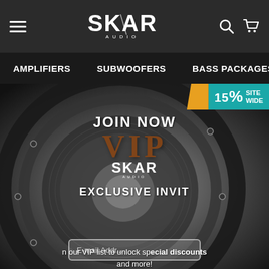Skar Audio - Navigation header with hamburger menu, Skar Audio logo, search and cart icons
AMPLIFIERS   SUBWOOFERS   BASS PACKAGES   SPEAKERS
[Figure (screenshot): Skar Audio website screenshot showing a large subwoofer speaker image with a VIP membership overlay popup. Text reads: JOIN NOW, VIP, SKAR AUDIO, EXCLUSIVE INVITE, join our VIP list to unlock special discounts and more. A promo banner in top right shows 15% SITEWIDE. An email input box is visible at the bottom.]